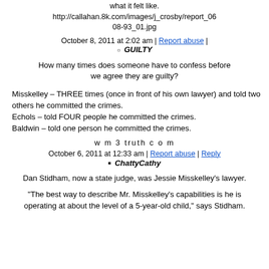what it felt like.
http://callahan.8k.com/images/j_crosby/report_06-08-93_01.jpg
October 8, 2011 at 2:02 am | Report abuse |
GUILTY
How many times does someone have to confess before we agree they are guilty?
Misskelley – THREE times (once in front of his own lawyer) and told two others he committed the crimes. Echols – told FOUR people he committed the crimes. Baldwin – told one person he committed the crimes.
w m 3 truth c o m
October 6, 2011 at 12:33 am | Report abuse | Reply
ChattyCathy
Dan Stidham, now a state judge, was Jessie Misskelley's lawyer.
"The best way to describe Mr. Misskelley's capabilities is he is operating at about the level of a 5-year-old child," says Stidham.